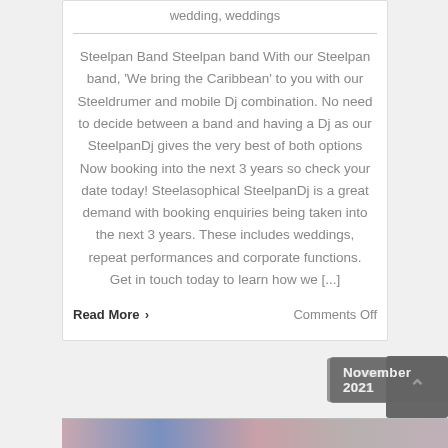wedding, weddings
Steelpan Band Steelpan band With our Steelpan band, 'We bring the Caribbean' to you with our Steeldrumer and mobile Dj combination. No need to decide between a band and having a Dj as our SteelpanDj gives the very best of both options Now booking into the next 3 years so check your date today! Steelasophical SteelpanDj is a great demand with booking enquiries being taken into the next 3 years. These includes weddings, repeat performances and corporate functions. Get in touch today to learn how we [...]
Read More ›
Comments Off
November 2021
[Figure (photo): Strip of wedding photos at the bottom of the page]